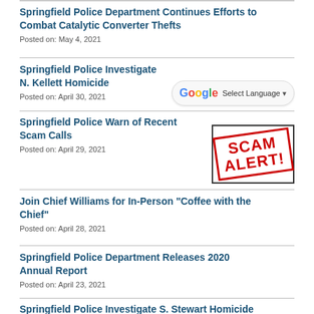Springfield Police Department Continues Efforts to Combat Catalytic Converter Thefts
Posted on: May 4, 2021
Springfield Police Investigate N. Kellett Homicide
Posted on: April 30, 2021
[Figure (screenshot): Google Translate Select Language widget]
Springfield Police Warn of Recent Scam Calls
Posted on: April 29, 2021
[Figure (illustration): SCAM ALERT! stamp graphic in red bold text with border]
Join Chief Williams for In-Person "Coffee with the Chief"
Posted on: April 28, 2021
Springfield Police Department Releases 2020 Annual Report
Posted on: April 23, 2021
Springfield Police Investigate S. Stewart Homicide